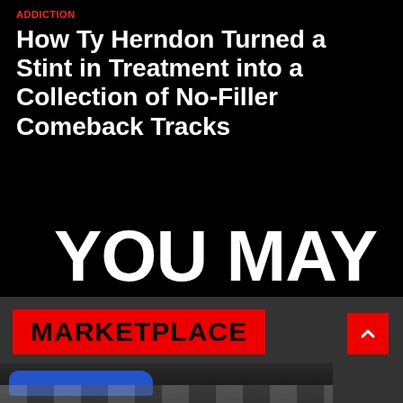ADDICTION
How Ty Herndon Turned a Stint in Treatment into a Collection of No-Filler Comeback Tracks
YOU MAY LIKE
[Figure (screenshot): Marketplace banner with red background and black bold text reading MARKETPLACE, plus a red scroll-to-top button with chevron icon, and a partial image of a blue car at the bottom]